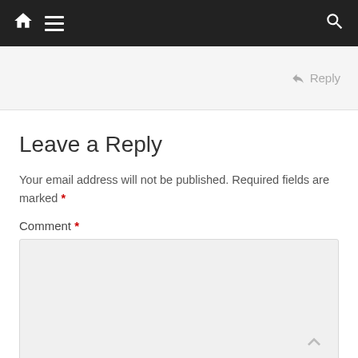Navigation bar with home, menu, and search icons
Reply
Leave a Reply
Your email address will not be published. Required fields are marked *
Comment *